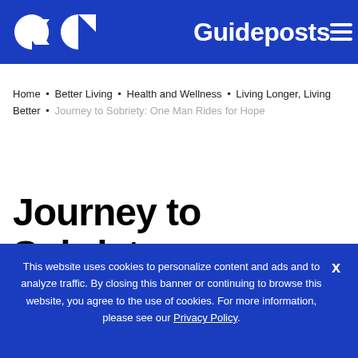[Figure (logo): Guideposts logo with circular icon and text on blue header bar]
Home • Better Living • Health and Wellness • Living Longer, Living Better • Journey to Sobriety: One Man Rides for Hope
Journey to Sobriety:
This website uses cookies to personalize content and ads and to analyze traffic. By closing this banner or continuing to browse this website, you agree to the use of cookies. For more information, please see our Privacy Policy.